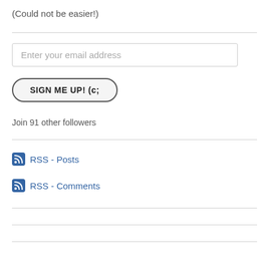(Could not be easier!)
Enter your email address
SIGN ME UP! (c;
Join 91 other followers
RSS - Posts
RSS - Comments